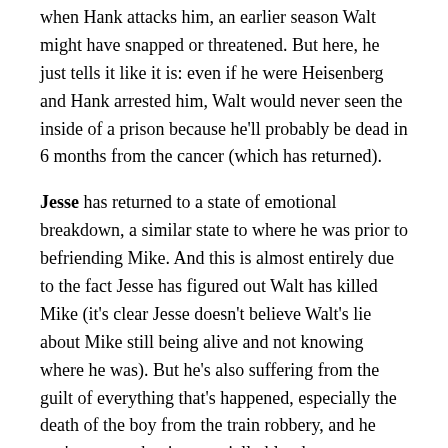when Hank attacks him, an earlier season Walt might have snapped or threatened. But here, he just tells it like it is: even if he were Heisenberg and Hank arrested him, Walt would never seen the inside of a prison because he'll probably be dead in 6 months from the cancer (which has returned).
Jesse has returned to a state of emotional breakdown, a similar state to where he was prior to befriending Mike. And this is almost entirely due to the fact Jesse has figured out Walt has killed Mike (it's clear Jesse doesn't believe Walt's lie about Mike still being alive and not knowing where he was). But he's also suffering from the guilt of everything that's happened, especially the death of the boy from the train robbery, and he can't accept what is essentially blood money, even though it's millions of dollars. He is now so low that even the levity of his friends Skinny Pete and Badger can't bring him out of his stupor. And when his plan to give the money away to Mike's granddaughter and